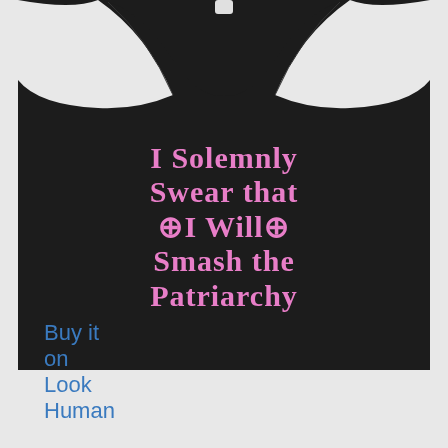[Figure (photo): A black tank top with pink Harry Potter-style text reading 'I Solemnly Swear that ✦I Will✦ Smash the Patriarchy', displayed on a product page with light gray background.]
Buy it on Look Human